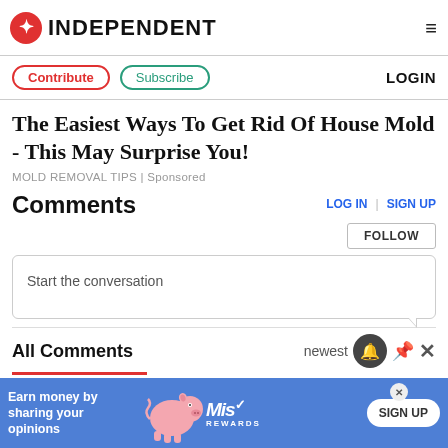INDEPENDENT
Contribute | Subscribe | LOGIN
The Easiest Ways To Get Rid Of House Mold - This May Surprise You!
MOLD REMOVAL TIPS | Sponsored
Comments
LOG IN | SIGN UP
FOLLOW
Start the conversation
All Comments
newest
Earn money by sharing your opinions SIGN UP